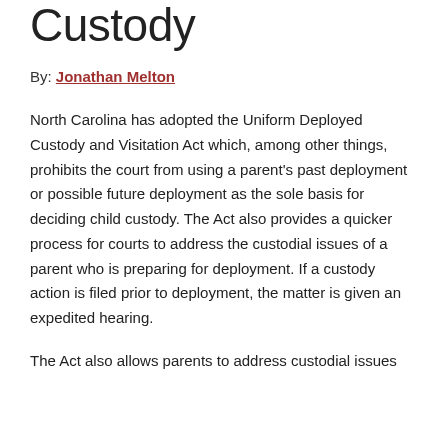Custody
By: Jonathan Melton
North Carolina has adopted the Uniform Deployed Custody and Visitation Act which, among other things, prohibits the court from using a parent's past deployment or possible future deployment as the sole basis for deciding child custody. The Act also provides a quicker process for courts to address the custodial issues of a parent who is preparing for deployment. If a custody action is filed prior to deployment, the matter is given an expedited hearing.
The Act also allows parents to address custodial issues